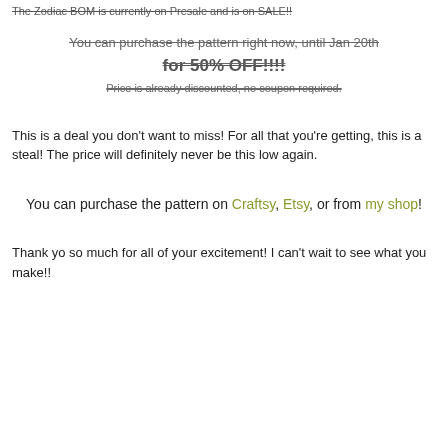The Zodiac BOM is currently on Presale and is on SALE!!
You can purchase the pattern right now, until Jan 20th
for 50% OFF!!!!
Price is already discounted, no coupon required.
This is a deal you don't want to miss! For all that you're getting, this is a steal! The price will definitely never be this low again.
You can purchase the pattern on Craftsy, Etsy, or from my shop!
Thank yo so much for all of your excitement! I can't wait to see what you make!!